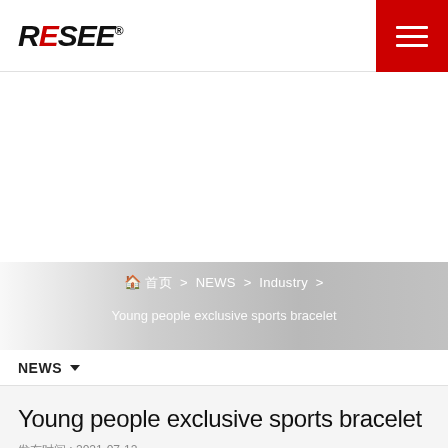RESEE
[Figure (other): Red hamburger menu button in top-right corner of header]
[Figure (other): White hero/banner area below header]
🏠 首页 > NEWS > Industry > Young people exclusive sports bracelet
NEWS ▾
Young people exclusive sports bracelet
发布时间 : 2021-07-12